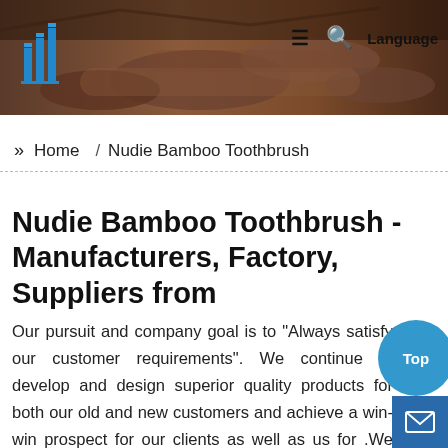[Figure (photo): Dark industrial background image showing pipes/tubes with warm brown/orange tint, used as website header banner]
≡  🔍  Language
» Home / Nudie Bamboo Toothbrush
Nudie Bamboo Toothbrush - Manufacturers, Factory, Suppliers from
Our pursuit and company goal is to "Always satisfy our customer requirements". We continue to develop and design superior quality products for both our old and new customers and achieve a win-win prospect for our clients as well as us for .We sincerely welcome you come to visit us. Hope we have good cooperation in the future. The product will supply to all over the world, Europe, America, Australia, Bangladesh ,France ,Pakistan